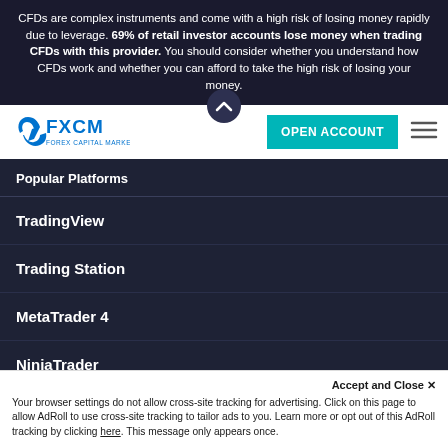CFDs are complex instruments and come with a high risk of losing money rapidly due to leverage. 69% of retail investor accounts lose money when trading CFDs with this provider. You should consider whether you understand how CFDs work and whether you can afford to take the high risk of losing your money.
[Figure (logo): FXCM Forex Capital Markets logo with blue swoosh icon]
OPEN ACCOUNT
Popular Platforms
TradingView
Trading Station
MetaTrader 4
NinjaTrader
Accept and Close ✕
Your browser settings do not allow cross-site tracking for advertising. Click on this page to allow AdRoll to use cross-site tracking to tailor ads to you. Learn more or opt out of this AdRoll tracking by clicking here. This message only appears once.